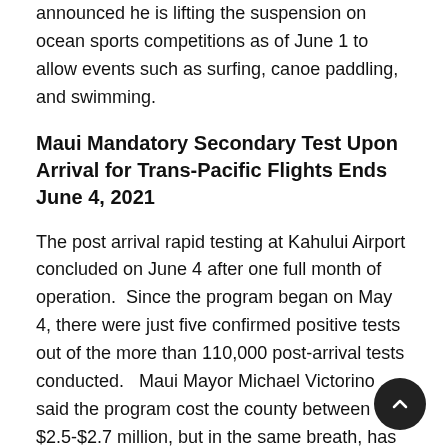announced he is lifting the suspension on ocean sports competitions as of June 1 to allow events such as surfing, canoe paddling, and swimming.
Maui Mandatory Secondary Test Upon Arrival for Trans-Pacific Flights Ends June 4, 2021
The post arrival rapid testing at Kahului Airport concluded on June 4 after one full month of operation.  Since the program began on May 4, there were just five confirmed positive tests out of the more than 110,000 post-arrival tests conducted.   Maui Mayor Michael Victorino said the program cost the county between $2.5-$2.7 million, but in the same breath, has provided important information on